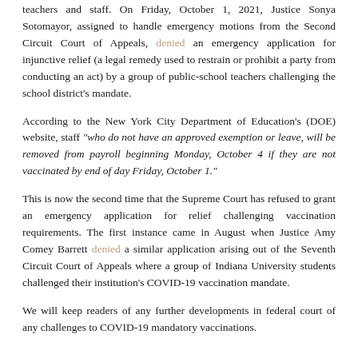teachers and staff. On Friday, October 1, 2021, Justice Sonya Sotomayor, assigned to handle emergency motions from the Second Circuit Court of Appeals, denied an emergency application for injunctive relief (a legal remedy used to restrain or prohibit a party from conducting an act) by a group of public-school teachers challenging the school district's mandate.
According to the New York City Department of Education's (DOE) website, staff "who do not have an approved exemption or leave, will be removed from payroll beginning Monday, October 4 if they are not vaccinated by end of day Friday, October 1."
This is now the second time that the Supreme Court has refused to grant an emergency application for relief challenging vaccination requirements. The first instance came in August when Justice Amy Comey Barrett denied a similar application arising out of the Seventh Circuit Court of Appeals where a group of Indiana University students challenged their institution's COVID-19 vaccination mandate.
We will keep readers of any further developments in federal court of any challenges to COVID-19 mandatory vaccinations.